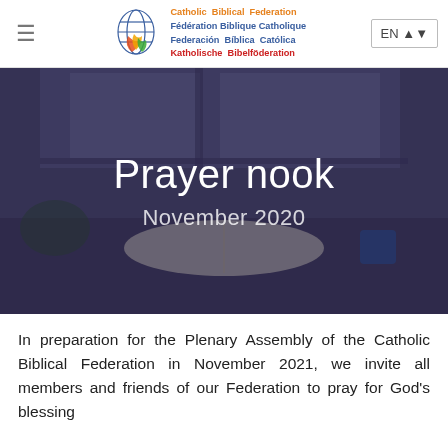Catholic Biblical Federation | Fédération Biblique Catholique | Federación Bíblica Católica | Katholische Bibelföderation | EN
[Figure (photo): Hero banner photo of an open book/bible on a desk with plants and a mug, overlaid with purple/dark tint, showing text 'Prayer nook' and 'November 2020']
Prayer nook
November 2020
In preparation for the Plenary Assembly of the Catholic Biblical Federation in November 2021, we invite all members and friends of our Federation to pray for God's blessing